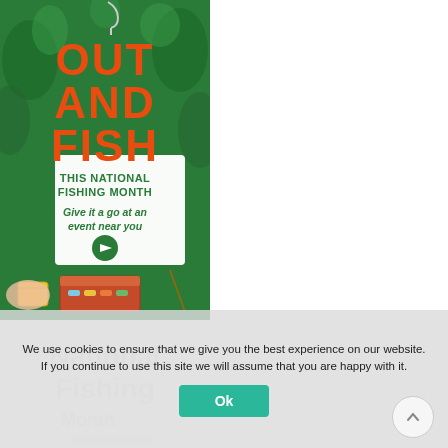[Figure (illustration): National Fishing Month promotional poster with green foliage background. Large orange text reads 'OUT AND FISH'. Below: 'THIS NATIONAL FISHING MONTH'. Green italic text: 'Give it a go at an event near you' with green circle arrow button. Bottom shows illustrated fishing tackle box, fishing rod, bucket, and fish on green background.]
We use cookies to ensure that we give you the best experience on our website. If you continue to use this site we will assume that you are happy with it.
Ok